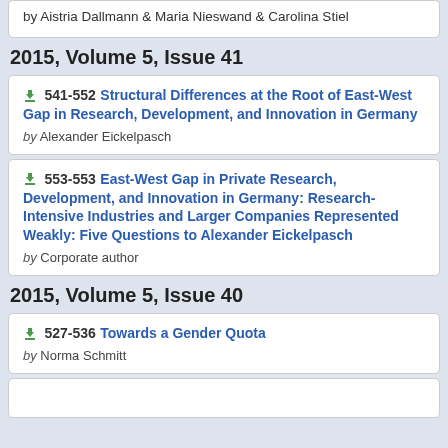by Aistria Dallmann & Maria Nieswand & Carolina Stiel
2015, Volume 5, Issue 41
541-552 Structural Differences at the Root of East-West Gap in Research, Development, and Innovation in Germany by Alexander Eickelpasch
553-553 East-West Gap in Private Research, Development, and Innovation in Germany: Research-Intensive Industries and Larger Companies Represented Weakly: Five Questions to Alexander Eickelpasch by Corporate author
2015, Volume 5, Issue 40
527-536 Towards a Gender Quota by Norma Schmitt